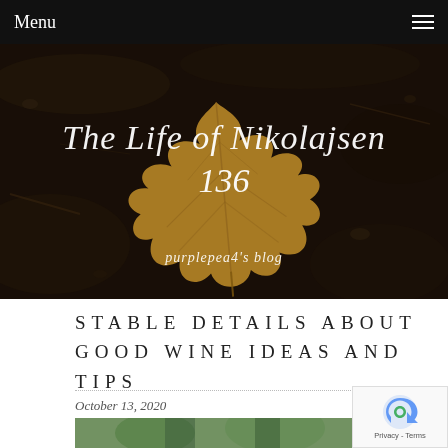Menu
[Figure (photo): Hero header image showing an autumn dried leaf on dark soil background with cursive blog title text overlay]
The Life of Nikolajsen 136
purplepea4's blog
STABLE DETAILS ABOUT GOOD WINE IDEAS AND TIPS
October 13, 2020
[Figure (photo): Partial bottom image showing blurred green wine bottle or plant photography]